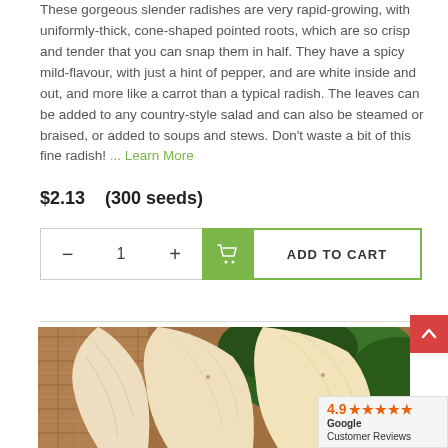These gorgeous slender radishes are very rapid-growing, with uniformly-thick, cone-shaped pointed roots, which are so crisp and tender that you can snap them in half. They have a spicy mild-flavour, with just a hint of pepper, and are white inside and out, and more like a carrot than a typical radish. The leaves can be added to any country-style salad and can also be steamed or braised, or added to soups and stews. Don't waste a bit of this fine radish! ... Learn More
$2.13   (300 seeds)
[Figure (screenshot): Add to cart widget with minus button, quantity field showing 1, plus button, green cart icon button, and ADD TO CART button]
[Figure (photo): Close-up photo of white slender radishes with green leaves in a wicker basket]
4.9 ★★★★★ Google Customer Reviews